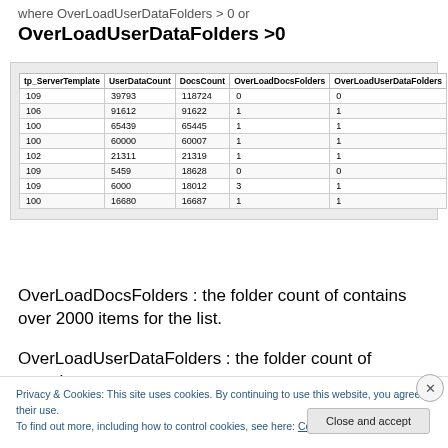where OverLoadUserDataFolders > 0 or OverLoadUserDataFolders >0
| tp_ServerTemplate | UserDataCount | DocsCount | OverLoadDocsFolders | OverLoadUserDataFolders |
| --- | --- | --- | --- | --- |
| 109 | 39793 | 118724 | 0 | 0 |
| 106 | 91612 | 91622 | 1 | 1 |
| 100 | 65439 | 65445 | 1 | 1 |
| 100 | 60000 | 60007 | 1 | 1 |
| 102 | 21311 | 21319 | 1 | 1 |
| 109 | 5459 | 18628 | 0 | 0 |
| 109 | 6000 | 18012 | 3 | 1 |
| 100 | 16680 | 16687 | 1 | 1 |
OverLoadDocsFolders : the folder count of contains over 2000 items for the list.
OverLoadUserDataFolders : the folder count of contains
Privacy & Cookies: This site uses cookies. By continuing to use this website, you agree to their use.
To find out more, including how to control cookies, see here: Cookie Policy
Close and accept